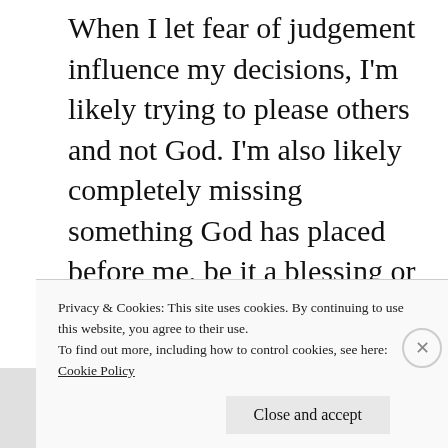When I let fear of judgement influence my decisions, I'm likely trying to please others and not God. I'm also likely completely missing something God has placed before me, be it a blessing or a task. It's not that we shouldn't care what people think–Paul exhorts the early Christians to always try and present Christ in a positive light to others–it's just that we should care
Privacy & Cookies: This site uses cookies. By continuing to use this website, you agree to their use.
To find out more, including how to control cookies, see here:
Cookie Policy
Close and accept